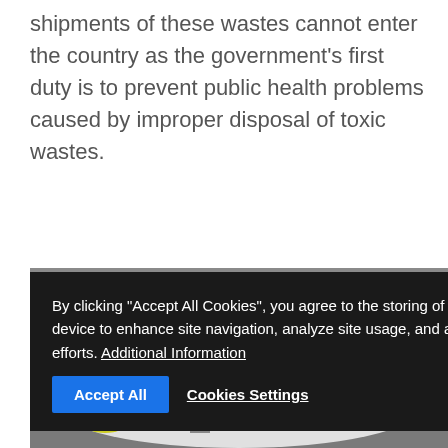shipments of these wastes cannot enter the country as the government's first duty is to prevent public health problems caused by improper disposal of toxic wastes.
According to police, there are now seven companies in Thailand that are properly licensed to import electronic scraps and recyclable goods with a 2017-18 quota of more than 200,000 tonnes. Imports last year totalled 60,000 tonnes and 100,000 tonnes are expected later this year.
By clicking "Accept All Cookies", you agree to the storing of cookies on your device to enhance site navigation, analyze site usage, and assist in our marketing efforts. Additional Information
[Figure (photo): Workers sorting through large piles of white material (possibly plastic or recycled goods) inside a warehouse facility. Several workers in colorful shirts visible among the material.]